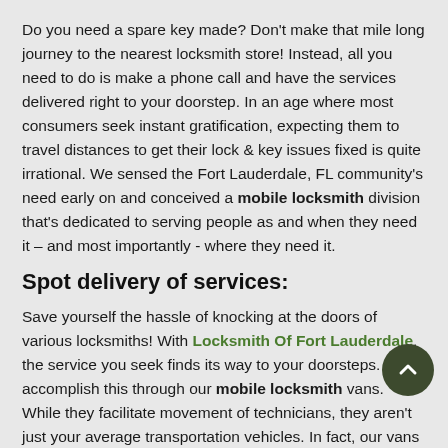Do you need a spare key made? Don't make that mile long journey to the nearest locksmith store! Instead, all you need to do is make a phone call and have the services delivered right to your doorstep. In an age where most consumers seek instant gratification, expecting them to travel distances to get their lock & key issues fixed is quite irrational. We sensed the Fort Lauderdale, FL community's need early on and conceived a mobile locksmith division that's dedicated to serving people as and when they need it – and most importantly - where they need it.
Spot delivery of services:
Save yourself the hassle of knocking at the doors of various locksmiths! With Locksmith Of Fort Lauderdale, the service you seek finds its way to your doorsteps. We accomplish this through our mobile locksmith vans. While they facilitate movement of technicians, they aren't just your average transportation vehicles. In fact, our vans act as our workshops. Loaded with the finest tools and